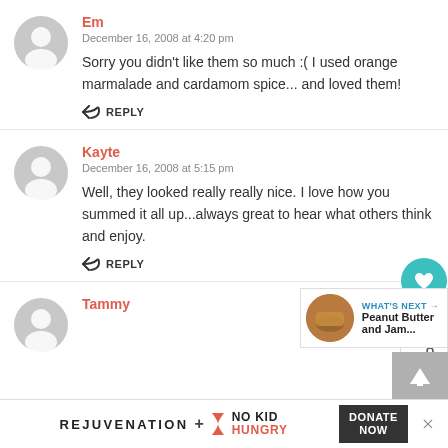Em
December 16, 2008 at 4:20 pm
Sorry you didn't like them so much :( I used orange marmalade and cardamom spice... and loved them!
REPLY
Kayte
December 16, 2008 at 5:15 pm
Well, they looked really really nice. I love how you summed it all up...always great to hear what others think and enjoy.
REPLY
Tammy
WHAT'S NEXT → Peanut Butter and Jam...
REJUVENATION + NO KID HUNGRY   DONATE NOW